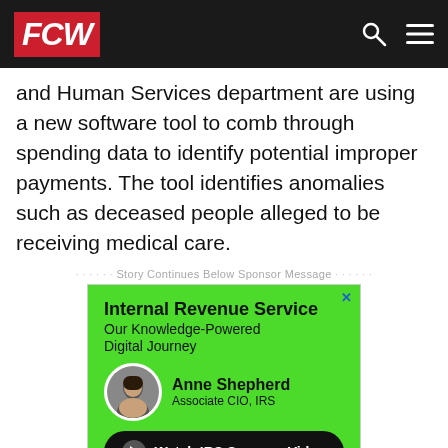FCW
and Human Services department are using a new software tool to comb through spending data to identify potential improper payments. The tool identifies anomalies such as deceased people alleged to be receiving medical care.
Story Continues Below Sponsor Message
[Figure (infographic): Advertisement for Internal Revenue Service: 'Internal Revenue Service Our Knowledge-Powered Digital Journey' featuring Anne Shepherd, Associate CIO, IRS. A 'Watch IRS Success Video' button with play icon. Footer shows eGain Knowledge Hub, FedRAMP Authorized, and easy with eGain logo.]